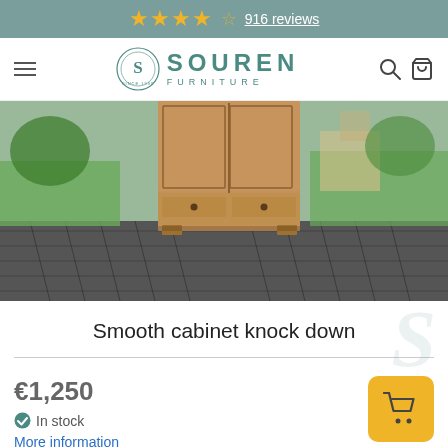★★★★☆ 916 reviews
[Figure (logo): Souren Furniture logo with circular emblem and brand name SOUREN FURNITURE in teal]
[Figure (photo): Wooden cabinet knock down photographed outdoors on a brick patio with garden in background]
Smooth cabinet knock down
€1,250
✔ In stock
More information